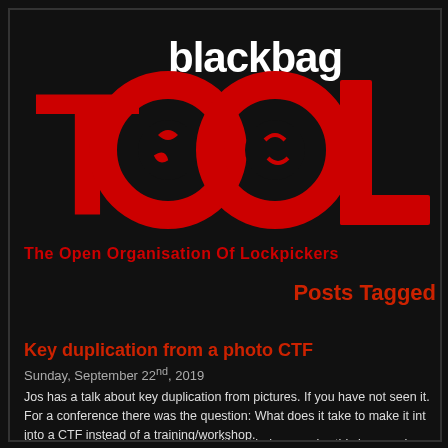[Figure (logo): TOOOL blackbag logo - red large letters TOOOL with circular saw blade emblems, on black background]
The Open Organisation Of Lockpickers
Posts Tagged
Key duplication from a photo CTF
Sunday, September 22nd, 2019
Jos has a talk about key duplication from pictures. If you have not seen it. For a conference there was the question: What does it take to make it into a CTF instead of a training/workshop.
This CTF has no prices and might teach you something new.
If you ever wished you could try it without being sneaky, this is your chance. encouraged to copy these keys!